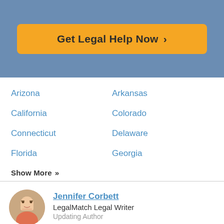[Figure (other): Call-to-action button with orange background reading 'Get Legal Help Now >' on a blue banner]
Arizona
Arkansas
California
Colorado
Connecticut
Delaware
Florida
Georgia
Show More »
Jennifer Corbett
LegalMatch Legal Writer
Updating Author
Jennifer joined LegalMatch in 2020 as a Legal Writer. She